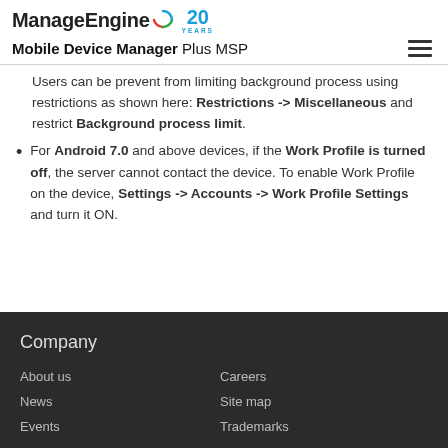ManageEngine 20 YEARS — Mobile Device Manager Plus MSP
Users can be prevent from limiting background process using restrictions as shown here: Restrictions -> Miscellaneous and restrict Background process limit.
For Android 7.0 and above devices, if the Work Profile is turned off, the server cannot contact the device. To enable Work Profile on the device, Settings -> Accounts -> Work Profile Settings and turn it ON.
Company
About us
News
Events
Careers
Site map
Trademarks